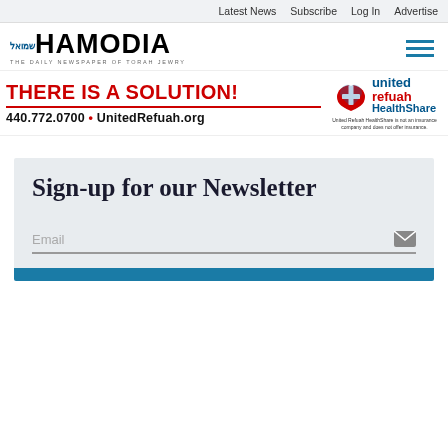Latest News  Subscribe  Log In  Advertise
[Figure (logo): Hamodia newspaper logo with tagline: THE DAILY NEWSPAPER OF TORAH JEWRY]
[Figure (infographic): United Refuah HealthShare advertisement. Text: THERE IS A SOLUTION! 440.772.0700 • UnitedRefuah.org. Logo with heart and cross. Disclaimer: United Refuah HealthShare is not an insurance company and does not offer insurance.]
Sign-up for our Newsletter
Email